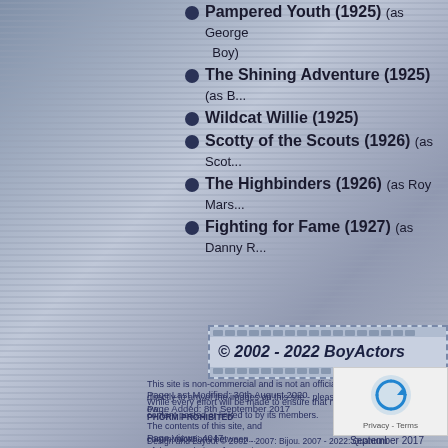Pampered Youth (1925) (as George ... Boy)
The Shining Adventure (1925) (as B...)
Wildcat Willie (1925)
Scotty of the Scouts (1926) (as Scot...)
The Highbinders (1926) (as Roy Mars...)
Fighting for Fame (1927) (as Danny R...)
Page Last Modified: 30th August 2020
Page Added: 8th September 2017

Page Views: 4047
[Figure (other): Copyright banner for BoyActors website: © 2002 - 2022 BoyActors, styled as a film strip]
This site is non-commercial and is not an official or representative web... directly to any of the images on this site - please upload them to your ow...
While every effort will be made to ensure that no offensive or illegal ma... content posted or linked to by its members.
PHORM PROHIBITED
The contents of this site, and communications between... of the Regulation of Investigatory Powers Act 2000. Th... other purposes is strictly forbidden.
Design and Layout © 2002 - 2007: Bijou. 2007 - 2022: Quantum